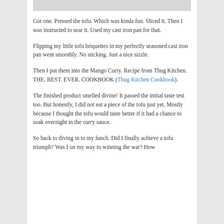[Figure (photo): Partial image visible at top of page]
Got one. Pressed the tofu. Which was kinda fun. Sliced it. Then I was instructed to sear it. Used my cast iron pan for that.
Flipping my little tofu briquettes in my perfectly seasoned cast iron pan went smoothly. No sticking. Just a nice sizzle.
Then I put them into the Mango Curry. Recipe from Thug Kitchen. THE. BEST. EVER. COOKBOOK (Thug Kitchen Cookbook).
The finished product smelled divine! It passed the initial taste test too. But honestly, I did not eat a piece of the tofu just yet. Mostly because I thought the tofu would taste better if it had a chance to soak overnight in the curry sauce.
So back to diving in to my lunch. Did I finally achieve a tofu triumph? Was I on my way to winning the war? How